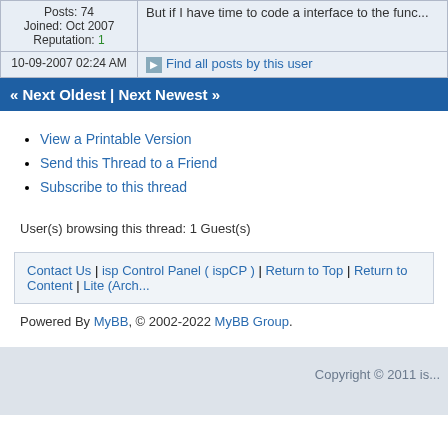| Posts: 74
Joined: Oct 2007
Reputation: 1 | But if I have time to code a interface to the func... |
| 10-09-2007 02:24 AM | Find all posts by this user |
« Next Oldest | Next Newest »
View a Printable Version
Send this Thread to a Friend
Subscribe to this thread
User(s) browsing this thread: 1 Guest(s)
Contact Us | isp Control Panel ( ispCP ) | Return to Top | Return to Content | Lite (Arch...
Powered By MyBB, © 2002-2022 MyBB Group.
Copyright © 2011 is...